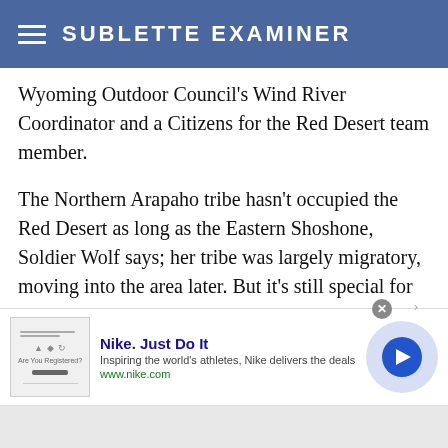SUBLETTE EXAMINER
Wyoming Outdoor Council's Wind River Coordinator and a Citizens for the Red Desert team member.
The Northern Arapaho tribe hasn't occupied the Red Desert as long as the Eastern Shoshone, Soldier Wolf says; her tribe was largely migratory, moving into the area later. But it's still special for tribal citizens — wilderness is akin to church for many, she says.
Soldier Wolf grew up knowing the dormant
[Figure (other): Nike advertisement banner with thumbnail image, text 'Nike. Just Do It', description 'Inspiring the world's athletes, Nike delivers the deals', URL 'www.nike.com', and a play button circle on the right.]